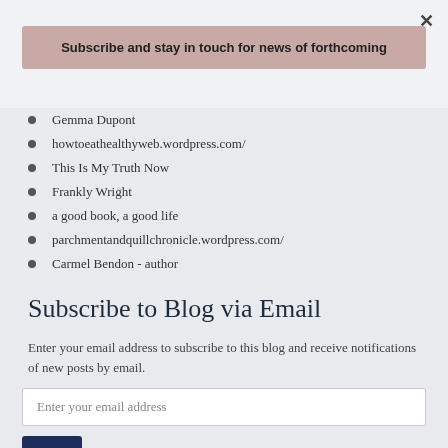×
Subscribe and stay in touch for news of forthcoming
Gemma Dupont
howtoeathealthyweb.wordpress.com/
This Is My Truth Now
Frankly Wright
a good book, a good life
parchmentandquillchronicle.wordpress.com/
Carmel Bendon - author
Subscribe to Blog via Email
Enter your email address to subscribe to this blog and receive notifications of new posts by email.
Enter your email address